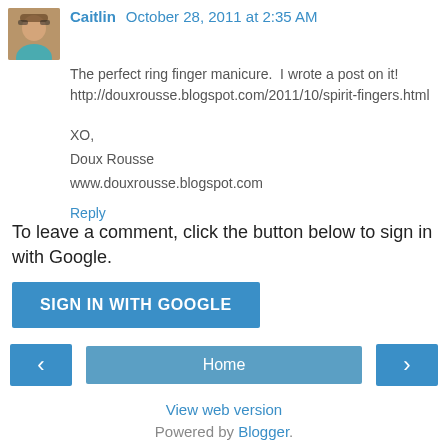[Figure (photo): Small avatar photo of Caitlin, a woman wearing sunglasses and a teal/blue top]
Caitlin October 28, 2011 at 2:35 AM
The perfect ring finger manicure. I wrote a post on it! http://douxrousse.blogspot.com/2011/10/spirit-fingers.html
XO,
Doux Rousse
www.douxrousse.blogspot.com
Reply
To leave a comment, click the button below to sign in with Google.
SIGN IN WITH GOOGLE
‹
Home
›
View web version
Powered by Blogger.